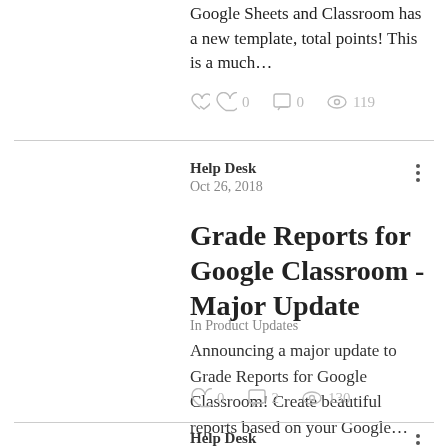Google Sheets and Classroom has a new template, total points! This is a much…
0  0  119
Help Desk
Oct 26, 2018
Grade Reports for Google Classroom - Major Update
In Product Updates
Announcing a major update to Grade Reports for Google Classroom! Create beautiful reports based on your Google…
0  2  130
Help Desk